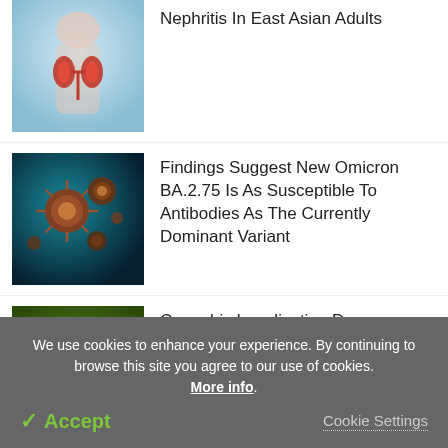[Figure (photo): Medical illustration of kidneys in human body]
Nephritis In East Asian Adults
[Figure (photo): Microscopic image of virus particles, Omicron BA.2.75 variant]
Findings Suggest New Omicron BA.2.75 Is As Susceptible To Antibodies As The Currently Dominant Variant
[Figure (photo): Cannabis plant leaves close-up]
Cannabis Legalization Decreases The Stock Market Value Of Major Pharmaceutical Firms
We use cookies to enhance your experience. By continuing to browse this site you agree to our use of cookies. More info.